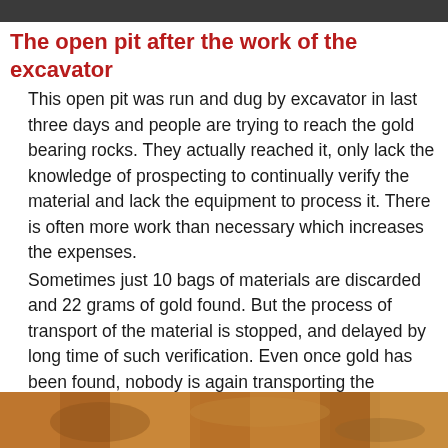The open pit after the work of the excavator
This open pit was run and dug by excavator in last three days and people are trying to reach the gold bearing rocks. They actually reached it, only lack the knowledge of prospecting to continually verify the material and lack the equipment to process it. There is often more work than necessary which increases the expenses.
Sometimes just 10 bags of materials are discarded and 22 grams of gold found. But the process of transport of the material is stopped, and delayed by long time of such verification. Even once gold has been found, nobody is again transporting the material, it simply remains on the side so the open pit.
People are searching for "more" while that more is under their feet.
[Figure (photo): Photograph of an open pit excavation site showing earth and rock material, partially visible at the bottom of the page.]